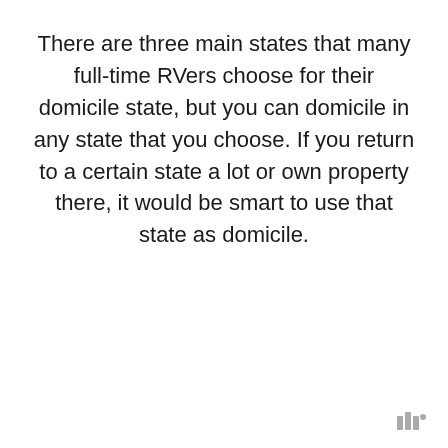There are three main states that many full-time RVers choose for their domicile state, but you can domicile in any state that you choose. If you return to a certain state a lot or own property there, it would be smart to use that state as domicile.